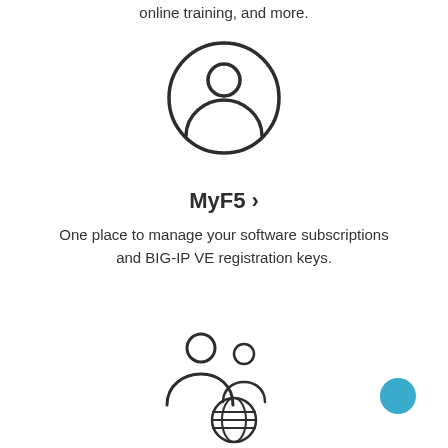online training, and more.
[Figure (illustration): Person/user icon inside a circle]
MyF5 ›
One place to manage your software subscriptions and BIG-IP VE registration keys.
[Figure (illustration): Two people with a globe/world icon below them]
[Figure (other): Blue circular dot in bottom right area]